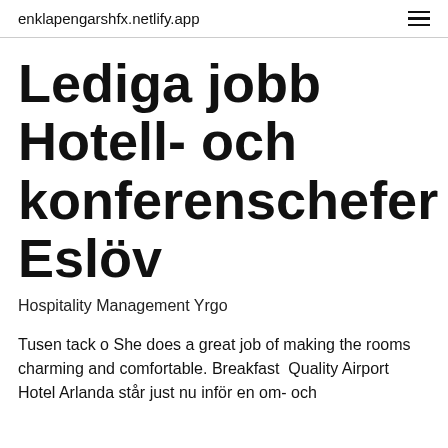enklapengarshfx.netlify.app
Lediga jobb Hotell- och konferenschefer Eslöv
Hospitality Management Yrgo
Tusen tack o She does a great job of making the rooms charming and comfortable. Breakfast  Quality Airport Hotel Arlanda står just nu inför en om- och